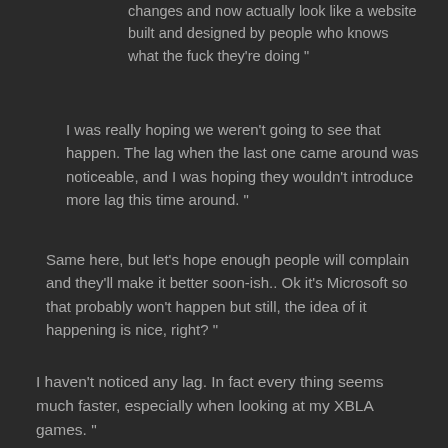changes and now actually look like a website built and designed by people who knows what the fuck they're doing "
I was really hoping we weren't going to see that happen. The lag when the last one came around was noticeable, and I was hoping they wouldn't introduce more lag this time around. "
Same here, but let's hope enough people will complain and they'll make it better soon-ish.. Ok it's Microsoft so that probably won't happen but still, the idea of it happening is nice, right?  "
I haven't noticed any lag. In fact every thing seems much faster, especially when looking at my XBLA games. "